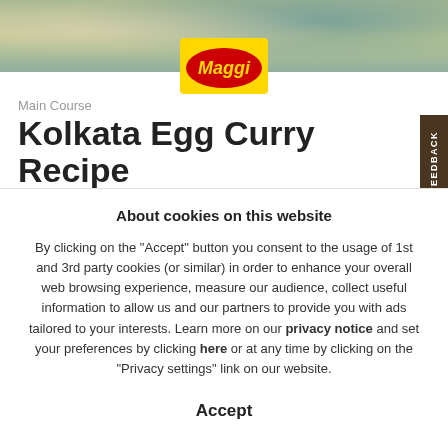[Figure (photo): Food photo strip at top of page showing egg curry dish ingredients]
[Figure (logo): Maggi logo - yellow rectangle with red oval containing Maggi text in yellow]
Main Course
Kolkata Egg Curry Recipe
About cookies on this website
By clicking on the "Accept" button you consent to the usage of 1st and 3rd party cookies (or similar) in order to enhance your overall web browsing experience, measure our audience, collect useful information to allow us and our partners to provide you with ads tailored to your interests. Learn more on our privacy notice and set your preferences by clicking here or at any time by clicking on the "Privacy settings" link on our website.
Accept